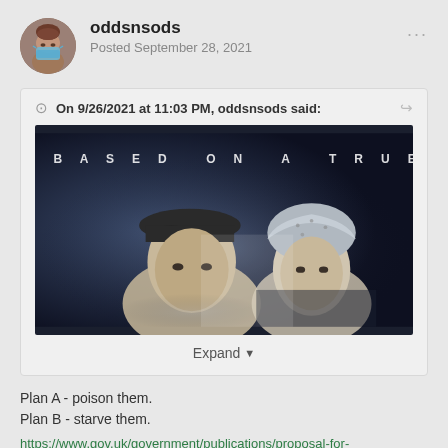oddsnsods
Posted September 28, 2021
On 9/26/2021 at 11:03 PM, oddsnsods said:
[Figure (photo): Movie-style promotional image with text 'BASED ON A TRUE STORY' at the top, showing two people — a man wearing a dark flat cap and a woman wearing a light headscarf — against a dark blue misty background.]
Expand
Plan A - poison them.
Plan B - starve them.
https://www.gov.uk/government/publications/proposal-for-